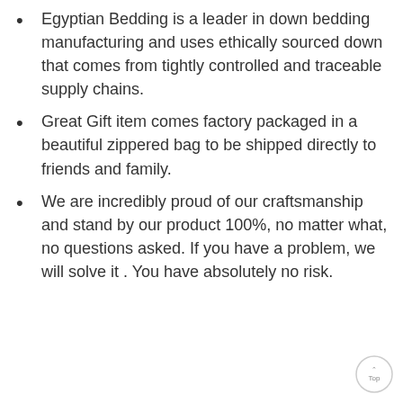Egyptian Bedding is a leader in down bedding manufacturing and uses ethically sourced down that comes from tightly controlled and traceable supply chains.
Great Gift item comes factory packaged in a beautiful zippered bag to be shipped directly to friends and family.
We are incredibly proud of our craftsmanship and stand by our product 100%, no matter what, no questions asked. If you have a problem, we will solve it . You have absolutely no risk.